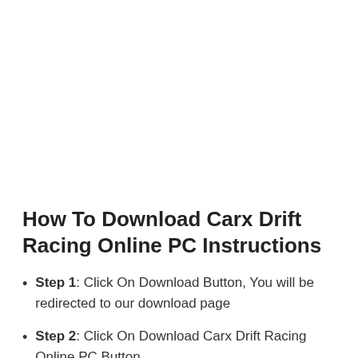How To Download Carx Drift Racing Online PC Instructions
Step 1: Click On Download Button, You will be redirected to our download page
Step 2: Click On Download Carx Drift Racing Online PC Button